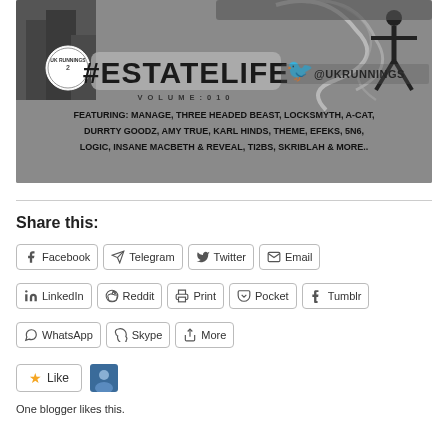[Figure (illustration): Dark grey promotional banner for #EstateLife Volume 010 by @UKRunnings, featuring silhouettes of a city skyline and a figure with arms outstretched. Text lists featured artists: MANAGE, THREE HEADED BEAST, LOCKSMYTH, A-CAT, DURRTY GOODZ, AMY TRUE, KARL HINDS, THEME, EFEKS, 5N6, LOGIC, INSANE MACBETH & REVEAL, TI2BS, SKRIBLAH & MORE..]
Share this:
Facebook
Telegram
Twitter
Email
LinkedIn
Reddit
Print
Pocket
Tumblr
WhatsApp
Skype
More
Like
One blogger likes this.